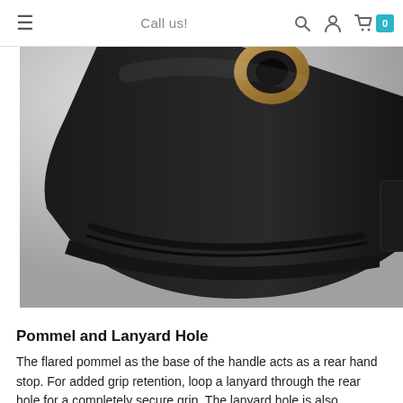Call us!
[Figure (photo): Close-up photograph of a black handle/grip with a bronze/gold colored lanyard hole at the top and a strap near the base, photographed against a light gray background.]
Pommel and Lanyard Hole
The flared pommel as the base of the handle acts as a rear hand stop. For added grip retention, loop a lanyard through the rear hole for a completely secure grip. The lanyard hole is also excellent for hanging...